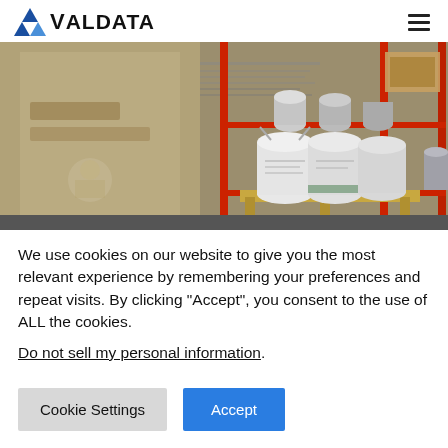VALDATA
[Figure (photo): Warehouse/industrial storage scene showing white paint buckets on red metal shelving/pallet rack, with a large glass panel or window in the foreground showing reflections]
We use cookies on our website to give you the most relevant experience by remembering your preferences and repeat visits. By clicking “Accept”, you consent to the use of ALL the cookies.
Do not sell my personal information.
Cookie Settings  Accept